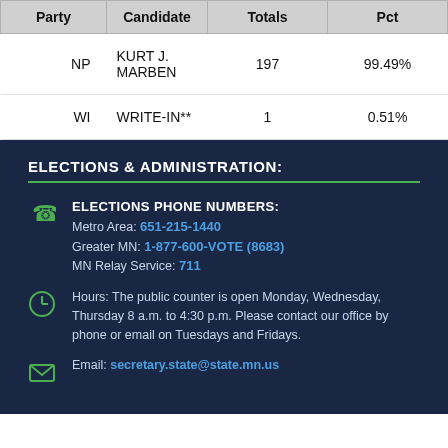| Party | Candidate | Totals | Pct |
| --- | --- | --- | --- |
| NP | KURT J. MARBEN | 197 | 99.49% |
| WI | WRITE-IN** | 1 | 0.51% |
ELECTIONS & ADMINISTRATION:
ELECTIONS PHONE NUMBERS: Metro Area: 651-215-1440 Greater MN: 1-877-600-VOTE (8683) MN Relay Service: 711
Hours: The public counter is open Monday, Wednesday, Thursday 8 a.m. to 4:30 p.m. Please contact our office by phone or email on Tuesdays and Fridays.
Email: secretary.state@state.mn.us